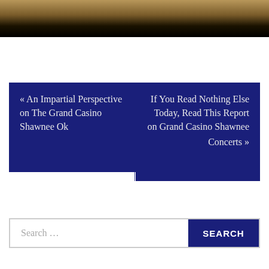[Figure (photo): Partial photo of casino interior, fading to black at bottom]
« An Impartial Perspective on The Grand Casino Shawnee Ok
If You Read Nothing Else Today, Read This Report on Grand Casino Shawnee Concerts »
Search ...